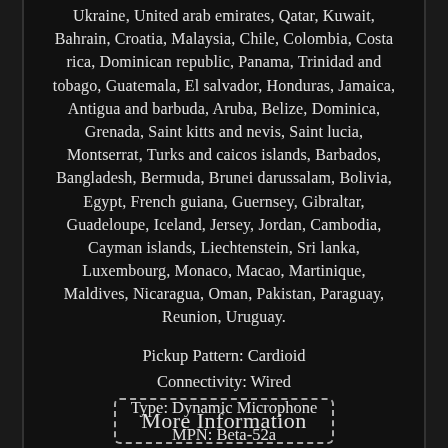Ukraine, United arab emirates, Qatar, Kuwait, Bahrain, Croatia, Malaysia, Chile, Colombia, Costa rica, Dominican republic, Panama, Trinidad and tobago, Guatemala, El salvador, Honduras, Jamaica, Antigua and barbuda, Aruba, Belize, Dominica, Grenada, Saint kitts and nevis, Saint lucia, Montserrat, Turks and caicos islands, Barbados, Bangladesh, Bermuda, Brunei darussalam, Bolivia, Egypt, French guiana, Guernsey, Gibraltar, Guadeloupe, Iceland, Jersey, Jordan, Cambodia, Cayman islands, Liechtenstein, Sri lanka, Luxembourg, Monaco, Macao, Martinique, Maldives, Nicaragua, Oman, Pakistan, Paraguay, Reunion, Uruguay.
Pickup Pattern: Cardioid
Connectivity: Wired
Type: Dynamic Microphone
MPN: Beta-52a
Brand: Shure
More Information